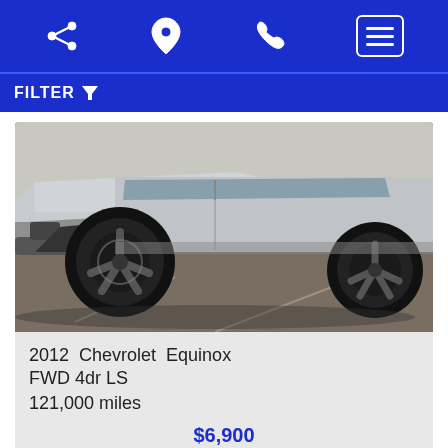Navigation bar with share, location, phone, and menu icons
FILTER
[Figure (photo): Close-up photo of front-right corner of a silver Chevrolet Equinox SUV with black alloy wheels, shot in a parking lot]
2012 Chevrolet Equinox FWD 4dr LS
121,000 miles
$6,900